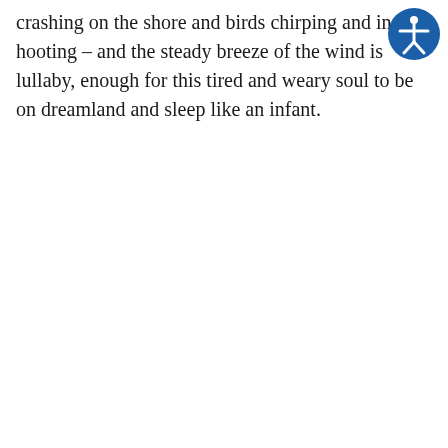crashing on the shore and birds chirping and insects hooting – and the steady breeze of the wind is lullaby, enough for this tired and weary soul to be on dreamland and sleep like an infant.
[Figure (illustration): Accessibility icon: a blue circle with a white figure representing a person with arms outstretched, indicating accessibility or screen reader functionality.]